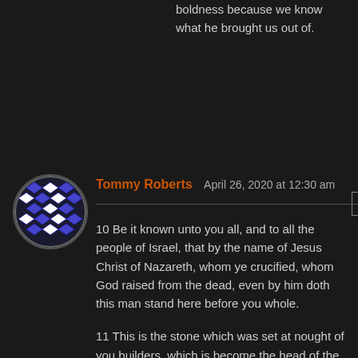boldness because we know what he brought us out of.
Reply
[Figure (illustration): Circular avatar image with a blue and white geometric/diamond pattern design on dark background]
Tommy Roberts  April 26, 2020 at 12:30 am
10 Be it known unto you all, and to all the people of Israel, that by the name of Jesus Christ of Nazareth, whom ye crucified, whom God raised from the dead, even by him doth this man stand here before you whole.
11 This is the stone which was set at nought of you builders, which is become the head of the corner.
12 Neither is there salvation in any other: for there is none other name under heaven given among men, whereby we must be saved.